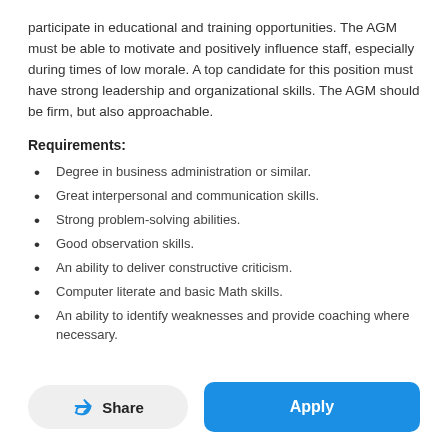participate in educational and training opportunities. The AGM must be able to motivate and positively influence staff, especially during times of low morale. A top candidate for this position must have strong leadership and organizational skills. The AGM should be firm, but also approachable.
Requirements:
Degree in business administration or similar.
Great interpersonal and communication skills.
Strong problem-solving abilities.
Good observation skills.
An ability to deliver constructive criticism.
Computer literate and basic Math skills.
An ability to identify weaknesses and provide coaching where necessary.
Share | Apply